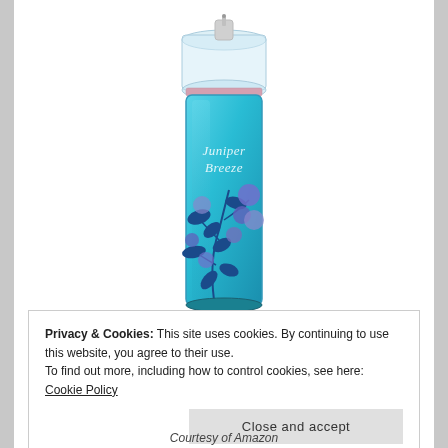[Figure (photo): A tall cylindrical spray bottle of Juniper Breeze fragrance mist. The bottle is transparent/glass with a light blue tinted liquid inside. It has a white pump spray top with a clear cap. The label area shows the text 'Juniper Breeze' in white letters. The lower portion of the bottle features a decorative pattern of dark blue leaves and purple/blue circular berry-like shapes on branches.]
Privacy & Cookies: This site uses cookies. By continuing to use this website, you agree to their use.
To find out more, including how to control cookies, see here: Cookie Policy
Close and accept
Courtesy of Amazon